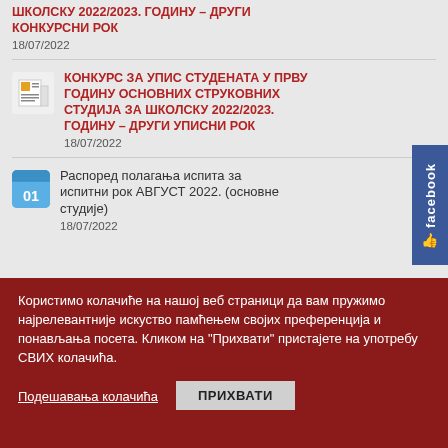ШКОЛСКУ 2022/2023. ГОДИНУ – ДРУГИ КОНКУРСНИ РОК
18/07/2022
КОНКУРС ЗА УПИС СТУДЕНАТА У ПРВУ ГОДИНУ ОСНОВНИХ СТРУКОВНИХ СТУДИЈА ЗА ШКОЛСКУ 2022/2023. ГОДИНУ – ДРУГИ УПИСНИ РОК
18/07/2022
Распоред полагања испита за испитни рок АВГУСТ 2022. (основне студије)
18/07/2022
Користимо колачиће на нашој веб страници да вам пружимо најрелевантније искуство памћењем својих преференција и понављања посета. Кликом на "Прихвати" пристајете на употребу СВИХ колачића.
Подешавања колачића
ПРИХВАТИ